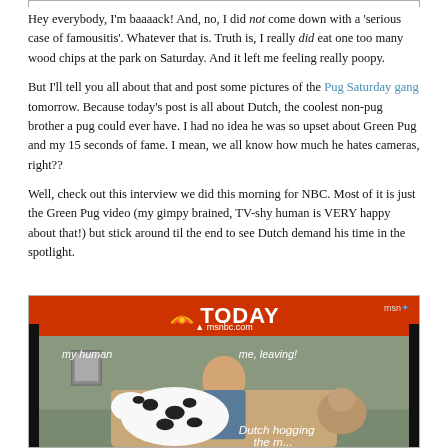Hey everybody, I'm baaaack! And, no, I did not come down with a 'serious case of famousitis'. Whatever that is. Truth is, I really did eat one too many wood chips at the park on Saturday. And it left me feeling really poopy.
But I'll tell you all about that and post some pictures of the Pug Saturday gang tomorrow. Because today's post is all about Dutch, the coolest non-pug brother a pug could ever have. I had no idea he was so upset about Green Pug and my 15 seconds of fame. I mean, we all know how much he hates cameras, right??
Well, check out this interview we did this morning for NBC. Most of it is just the Green Pug video (my gimpy brained, TV-shy human is VERY happy about that!) but stick around til the end to see Dutch demand his time in the spotlight.
[Figure (screenshot): Screenshot of NBC TODAY show video on msnbc.com showing a woman with a Dalmatian dog and a pug. Text overlays read 'my human', 'me, leaving!', and 'Dutch hogging the...']